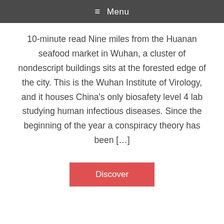≡ Menu
10-minute read Nine miles from the Huanan seafood market in Wuhan, a cluster of nondescript buildings sits at the forested edge of the city. This is the Wuhan Institute of Virology, and it houses China's only biosafety level 4 lab studying human infectious diseases. Since the beginning of the year a conspiracy theory has been […]
Discover